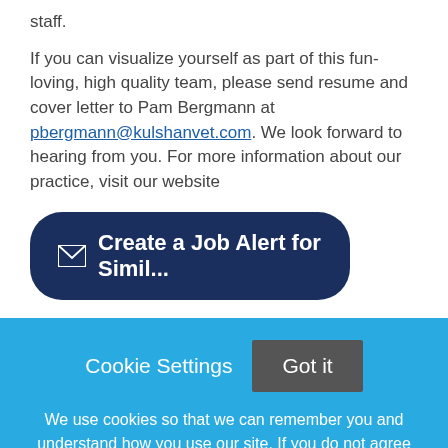staff.
If you can visualize yourself as part of this fun-loving, high quality team, please send resume and cover letter to Pam Bergmann at pbergmann@kulshanvet.com. We look forward to hearing from you. For more information about our practice, visit our website
✉ Create a Job Alert for Simil...
Cookie Settings  Got it
We use cookies so that we can remember you and understand how you use our site. If you do not agree with our use of cookies, please change the current settings found in our Cookie Policy. Otherwise, you agree to the use of the cookies as they are currently set.